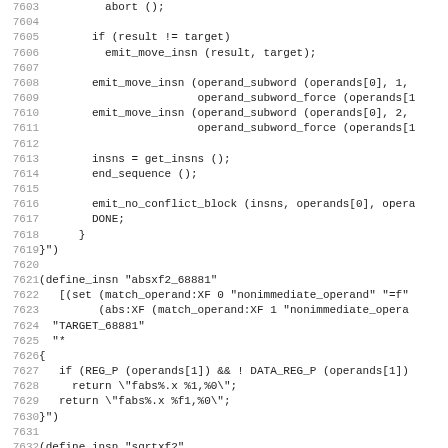Code listing lines 7603-7634, showing C/RTL source code including emit_move_insn, emit_no_conflict_block, define_insn for absxf2_68881 and sqrtxf2